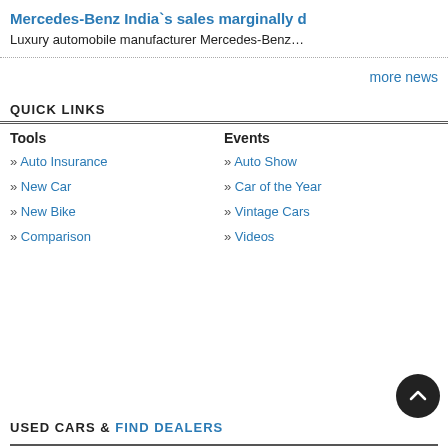Mercedes-Benz India`s sales marginally d
Luxury automobile manufacturer Mercedes-Benz…
more news
QUICK LINKS
Tools
» Auto Insurance
» New Car
» New Bike
» Comparison
Events
» Auto Show
» Car of the Year
» Vintage Cars
» Videos
USED CARS & FIND DEALERS